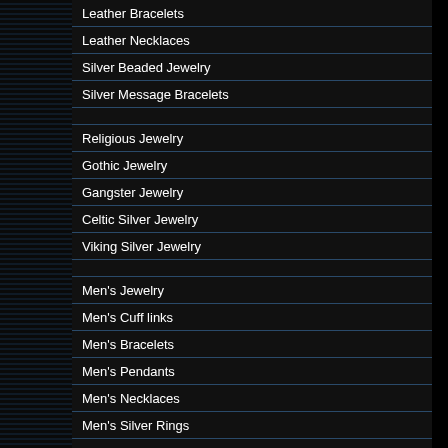Leather Bracelets
Leather Necklaces
Silver Beaded Jewelry
Silver Message Bracelets
Religious Jewelry
Gothic Jewelry
Gangster Jewelry
Celtic Silver Jewelry
Viking Silver Jewelry
Men's Jewelry
Men's Cuff links
Men's Bracelets
Men's Pendants
Men's Necklaces
Men's Silver Rings
Men's Silver Earrings
Men's Accessories
Women's Jewelry
Designer Silver Rings
stainless steel bracelets embody quality a... bracelets. Our 316L bracelets are unique en...
Also Available on Just 4 Men Jewelry Des...